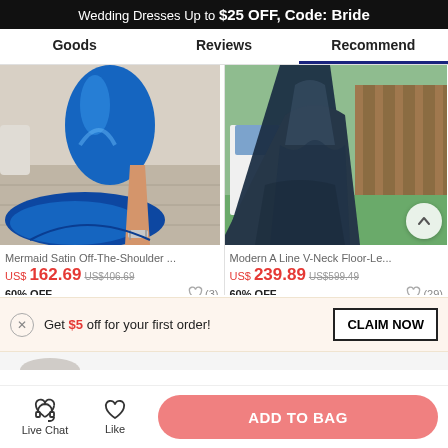Wedding Dresses Up to $25 OFF, Code: Bride
Goods   Reviews   Recommend
[Figure (photo): Two product photos side by side: left shows a royal blue mermaid satin evening gown with a side slit on a woman from waist down; right shows a navy blue A-line ball gown skirt on a woman from waist down with a man in white pants visible beside her.]
Mermaid Satin Off-The-Shoulder ...
US$162.69  US$406.69
60% OFF  ♡ (3)
Modern A Line V-Neck Floor-Le...
US$239.89  US$599.49
60% OFF  ♡ (29)
Get $5 off for your first order!
CLAIM NOW
Live Chat   Like   ADD TO BAG